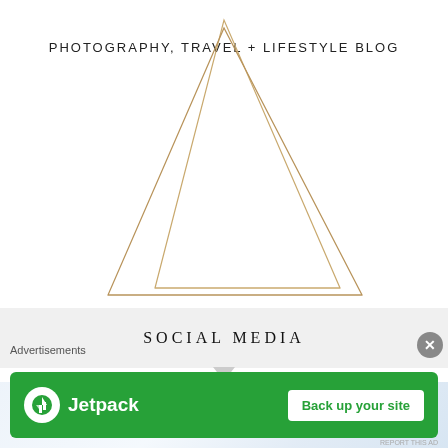[Figure (logo): Photography, Travel + Lifestyle Blog logo with geometric gold triangle lines and script/handwritten font text above subtitle]
SOCIAL MEDIA
Advertisements
[Figure (illustration): Jetpack advertisement banner: green background with Jetpack logo on left and 'Back up your site' white button on right]